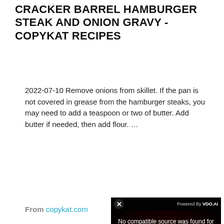CRACKER BARREL HAMBURGER STEAK AND ONION GRAVY - COPYKAT RECIPES
2022-07-10 Remove onions from skillet. If the pan is not covered in grease from the hamburger steaks, you may need to add a teaspoon or two of butter. Add butter if needed, then add flour. …
From copykat.com
[Figure (screenshot): Video player overlay showing 'No compatible source was found for this media.' with IMMUNE SYSTEM HOW IT ACTUALLY WORKS branding. Powered By VDO.AI. Close button (X) visible.]
COUNT... GRAVY
2013-10-... of meat, shallow d... for the b...
From myfoodchannel.com